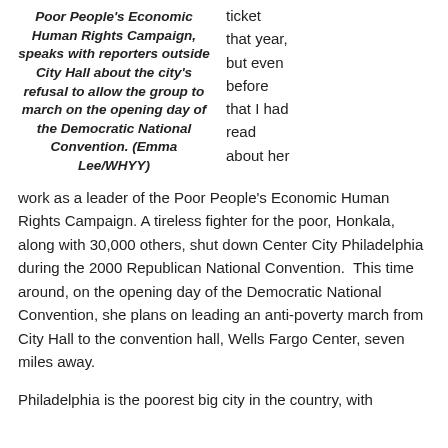Poor People's Economic Human Rights Campaign, speaks with reporters outside City Hall about the city's refusal to allow the group to march on the opening day of the Democratic National Convention. (Emma Lee/WHYY)
ticket that year, but even before that I had read about her
work as a leader of the Poor People's Economic Human Rights Campaign. A tireless fighter for the poor, Honkala, along with 30,000 others, shut down Center City Philadelphia during the 2000 Republican National Convention.  This time around, on the opening day of the Democratic National Convention, she plans on leading an anti-poverty march from City Hall to the convention hall, Wells Fargo Center, seven miles away.
Philadelphia is the poorest big city in the country, with